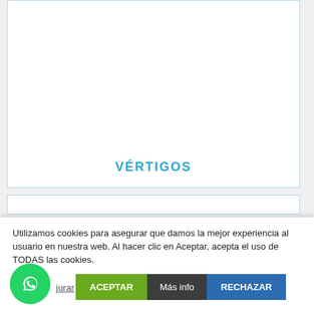[Figure (other): White card with cyan border containing the text VÉRTIGOS at the bottom]
VÉRTIGOS
Utilizamos cookies para asegurar que damos la mejor experiencia al usuario en nuestra web. Al hacer clic en Aceptar, acepta el uso de TODAS las cookies.
ACEPTAR
Más info
RECHAZAR